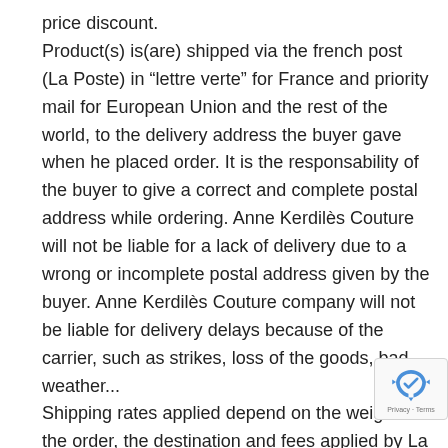price discount.
Product(s) is(are) shipped via the french post (La Poste) in “lettre verte” for France and priority mail for European Union and the rest of the world, to the delivery address the buyer gave when he placed order. It is the responsability of the buyer to give a correct and complete postal address while ordering. Anne Kerdilès Couture will not be liable for a lack of delivery due to a wrong or incomplete postal address given by the buyer. Anne Kerdilès Couture company will not be liable for delivery delays because of the carrier, such as strikes, loss of the goods, bad weather...
Shipping rates applied depend on the weight of the order, the destination and fees applied by La Poste the day of the order.
When order is receipt, the buyer must check the wrapping